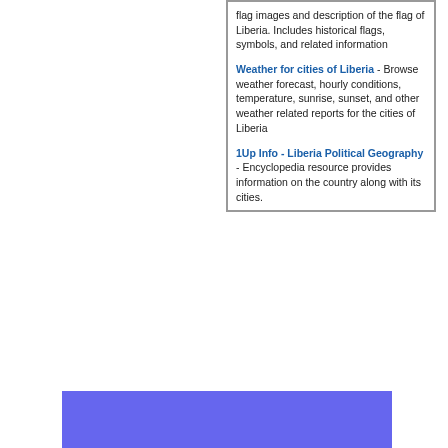flag images and description of the flag of Liberia. Includes historical flags, symbols, and related information
Weather for cities of Liberia - Browse weather forecast, hourly conditions, temperature, sunrise, sunset, and other weather related reports for the cities of Liberia
1Up Info - Liberia Political Geography - Encyclopedia resource provides information on the country along with its cities.
[Figure (other): Purple/blue rectangle block at the bottom of the page]